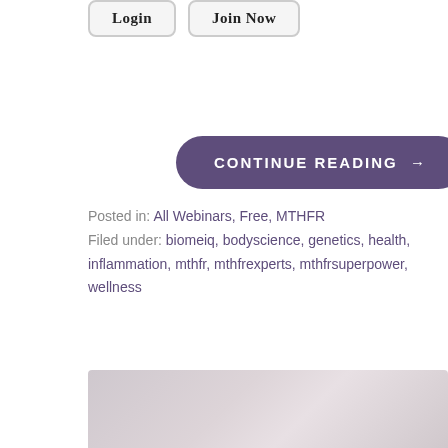[Figure (other): Login and Join Now buttons at the top of the page]
[Figure (other): Purple pill-shaped 'CONTINUE READING →' button]
Posted in: All Webinars, Free, MTHFR
Filed under: biomeiq, bodyscience, genetics, health, inflammation, mthfr, mthfrexperts, mthfrsuperpower, wellness
[Figure (photo): Partial photo visible at the bottom of the page, appears to show a light-colored background, likely a person or room]